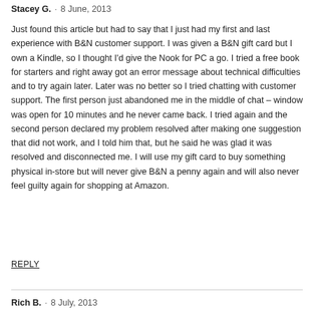Stacey G. · 8 June, 2013
Just found this article but had to say that I just had my first and last experience with B&N customer support. I was given a B&N gift card but I own a Kindle, so I thought I'd give the Nook for PC a go. I tried a free book for starters and right away got an error message about technical difficulties and to try again later. Later was no better so I tried chatting with customer support. The first person just abandoned me in the middle of chat – window was open for 10 minutes and he never came back. I tried again and the second person declared my problem resolved after making one suggestion that did not work, and I told him that, but he said he was glad it was resolved and disconnected me. I will use my gift card to buy something physical in-store but will never give B&N a penny again and will also never feel guilty again for shopping at Amazon.
REPLY
Rich B. · 8 July, 2013